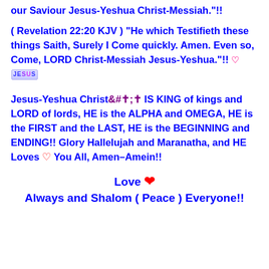our Saviour Jesus-Yeshua Christ-Messiah."!!
( Revelation 22:20 KJV ) “He which Testifieth these things Saith, Surely I Come quickly. Amen. Even so, Come, LORD Christ-Messiah Jesus-Yeshua.”!! ♥ JESUS
Jesus-Yeshua Christ ✝ IS KING of kings and LORD of lords, HE is the ALPHA and OMEGA, HE is the FIRST and the LAST, HE is the BEGINNING and ENDING!! Glory Hallelujah and Maranatha, and HE Loves ♥ You All, Amen–Amein!!
Love ❤
Always and Shalom ( Peace ) Everyone!!